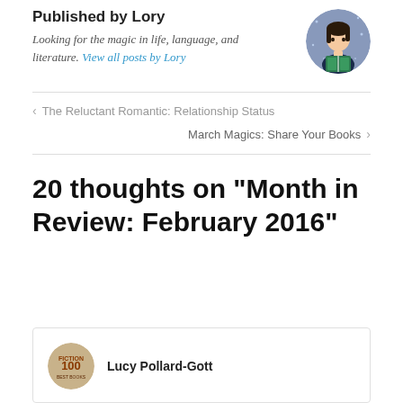Published by Lory
Looking for the magic in life, language, and literature. View all posts by Lory
< The Reluctant Romantic: Relationship Status
March Magics: Share Your Books >
20 thoughts on “Month in Review: February 2016”
Lucy Pollard-Gott